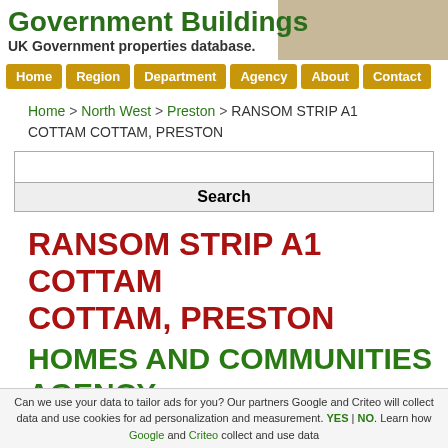Government Buildings — UK Government properties database.
Home | Region | Department | Agency | About | Contact
Home > North West > Preston > RANSOM STRIP A1 COTTAM COTTAM, PRESTON
Search
RANSOM STRIP A1 COTTAM COTTAM, PRESTON
HOMES AND COMMUNITIES AGENCY
Can we use your data to tailor ads for you? Our partners Google and Criteo will collect data and use cookies for ad personalization and measurement. YES | NO. Learn how Google and Criteo collect and use data